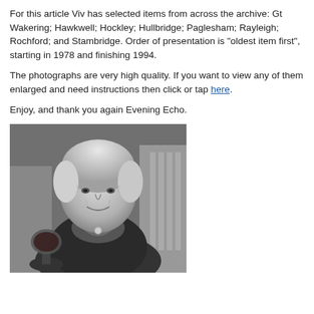For this article Viv has selected items from across the archive: Gt Wakering; Hawkwell; Hockley; Hullbridge; Paglesham; Rayleigh; Rochford; and Stambridge. Order of presentation is "oldest item first", starting in 1978 and finishing 1994.
The photographs are very high quality. If you want to view any of them enlarged and need instructions then click or tap here.
Enjoy, and thank you again Evening Echo.
[Figure (photo): Black and white photograph of an elderly woman with white hair, smiling gently, wearing a patterned scarf and dark jacket, holding a glass of red wine. She is seated in a chair with a radiator visible in the background.]